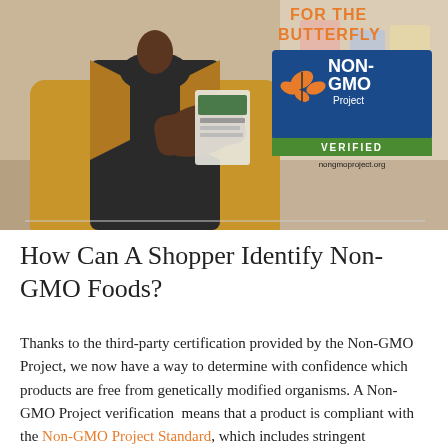[Figure (photo): Person in yellow/tan coat examining a product label, with Non-GMO Project Verified badge visible in upper right corner. Text at top right reads FOR THE BUTTERFLY in orange.]
How Can A Shopper Identify Non-GMO Foods?
Thanks to the third-party certification provided by the Non-GMO Project, we now have a way to determine with confidence which products are free from genetically modified organisms. A Non-GMO Project verification means that a product is compliant with the Non-GMO Project Standard, which includes stringent provisions for ingredient